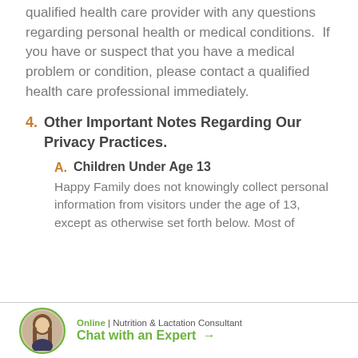qualified health care provider with any questions regarding personal health or medical conditions.  If you have or suspect that you have a medical problem or condition, please contact a qualified health care professional immediately.
4. Other Important Notes Regarding Our Privacy Practices.
A. Children Under Age 13 — Happy Family does not knowingly collect personal information from visitors under the age of 13, except as otherwise set forth below. Most of
[Figure (illustration): Circular avatar photo of a woman with long hair, representing an Online Nutrition & Lactation Consultant]
Online | Nutrition & Lactation Consultant
Chat with an Expert →